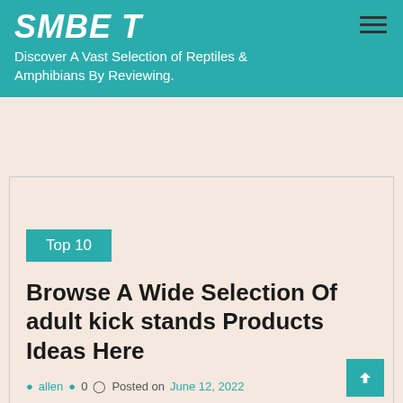SMBE T - Discover A Vast Selection of Reptiles & Amphibians By Reviewing.
Top 10
Browse A Wide Selection Of adult kick stands Products Ideas Here
allen  0  Posted on June 12, 2022